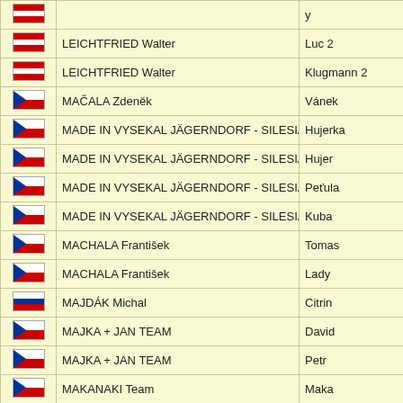| Flag | Owner/Team | Dog Name |
| --- | --- | --- |
| AT |  | y |
| AT | LEICHTFRIED Walter | Luc 2 |
| AT | LEICHTFRIED Walter | Klugmann 2 |
| CZ | MAČALA Zdeněk | Vánek |
| CZ | MADE IN VYSEKAL JÄGERNDORF - SILESIA TEAM | Hujerka |
| CZ | MADE IN VYSEKAL JÄGERNDORF - SILESIA TEAM | Hujer |
| CZ | MADE IN VYSEKAL JÄGERNDORF - SILESIA TEAM | Peťula |
| CZ | MADE IN VYSEKAL JÄGERNDORF - SILESIA TEAM | Kuba |
| CZ | MACHALA František | Tomas |
| CZ | MACHALA František | Lady |
| SK | MAJDÁK Michal | Citrin |
| CZ | MAJKA + JAN TEAM | David |
| CZ | MAJKA + JAN TEAM | Petr |
| CZ | MAKANAKI Team | Maka |
| CZ | MAKANAKI Team | Taki |
| CZ | MALACH Ladislav | Wirra |
| CZ | MALACH Ladislav | Sára |
| CZ | MALACH Ladislav | Rosi |
| AT | MARCHAT Franz | Route Sixty S |
| AT | MARCHAT F... | ... |